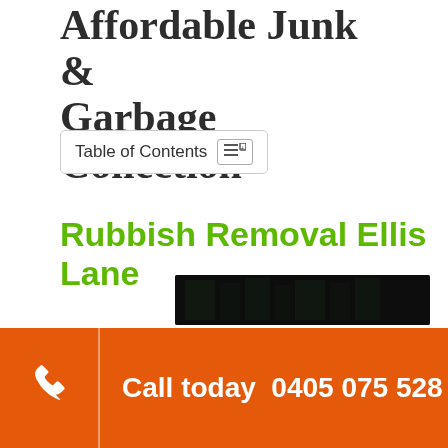Affordable Junk & Garbage Collection
Table of Contents
Rubbish Removal Ellis Lane
[Figure (photo): Dark photograph showing outdoor scene with trees and structures]
Call today  0405 075 528